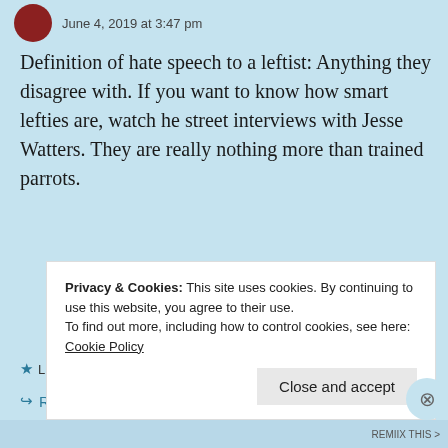June 4, 2019 at 3:47 pm
Definition of hate speech to a leftist: Anything they disagree with. If you want to know how smart lefties are, watch he street interviews with Jesse Watters. They are really nothing more than trained parrots.
Liked by 1 person
Reply
Privacy & Cookies: This site uses cookies. By continuing to use this website, you agree to their use.
To find out more, including how to control cookies, see here: Cookie Policy
Close and accept